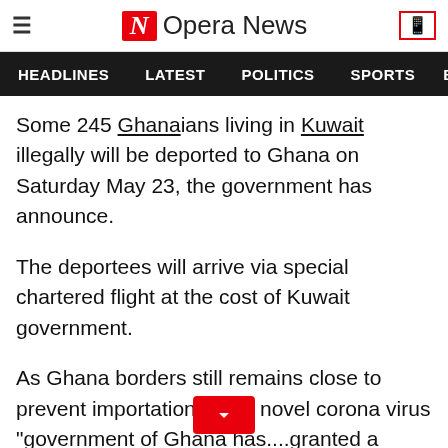Opera News
HEADLINES   LATEST   POLITICS   SPORTS
Some 245 Ghanaians living in Kuwait illegally will be deported to Ghana on Saturday May 23, the government has announce.
The deportees will arrive via special chartered flight at the cost of Kuwait government.
As Ghana borders still remains close to prevent importation of the novel corona virus "government of Ghana has....granted a special permit for the admission of the said deportees to Ghana" Information Minister